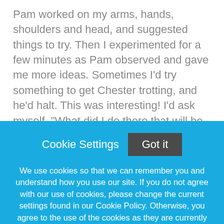Pam worked on my arms, hands, shoulders and head, and suggested things to try. Then I experimented for a few minutes as Pam observed and gave me more ideas. Sometimes I'd try something to get Chester trotting, and he'd halt. This was interesting! I'd ask myself, "What did I do there that will be useful when I really do want to halt?" Other times he would sail right into a trot and stay there, without me having to use a whip aid. I was so excited by the dramatic results.
Cookie Settings
Got it
We use cookies so that we can remember you and understand how you use our site. If you do not agree with our use of cookies, please change the current settings found in our Cookie Policy. Otherwise, you agree to the use of the cookies as they are currently set.